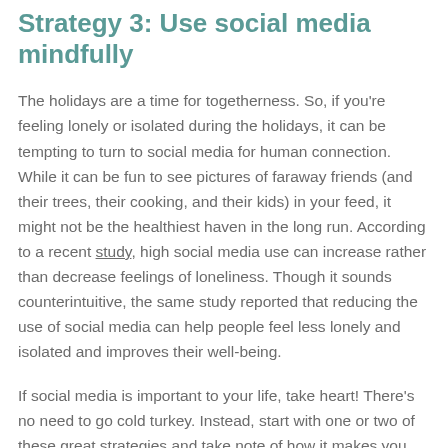Strategy 3: Use social media mindfully
The holidays are a time for togetherness. So, if you're feeling lonely or isolated during the holidays, it can be tempting to turn to social media for human connection. While it can be fun to see pictures of faraway friends (and their trees, their cooking, and their kids) in your feed, it might not be the healthiest haven in the long run. According to a recent study, high social media use can increase rather than decrease feelings of loneliness. Though it sounds counterintuitive, the same study reported that reducing the use of social media can help people feel less lonely and isolated and improves their well-being.
If social media is important to your life, take heart! There's no need to go cold turkey. Instead, start with one or two of these great strategies and take note of how it makes you feel.